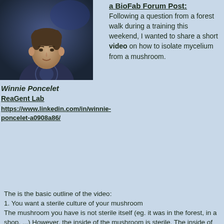[Figure (photo): Photo of Winnie Poncelet, a person wearing a dark t-shirt with a circular design, photographed in a dark/blue-lit environment]
Winnie Poncelet
ReaGent Lab
https://www.linkedin.com/in/winnie-poncelet-a0908a86/
a BioFab Forum Post:
Following a question from a forest walk during a training this weekend, I wanted to share a short video on how to isolate mycelium from a mushroom.
The is the basic outline of the video:
1. You want a sterile culture of your mushroom
The mushroom you have is not sterile itself (eg. it was in the forest, in a shop, ...) However, the inside of the mushroom is sterile. The inside of the mushroom consists of mycelium.
You desinfect the outside of the mushroom in sterile conditions
You cut open the mushrooms with a sterile tool in sterile conditions
You put the sterile piece of mycelium in your culture medium that you prepared before . In the video it's a liquid growth medium, but you can also use a solid one like Potato Dextrose Agar (PDA). (You can find